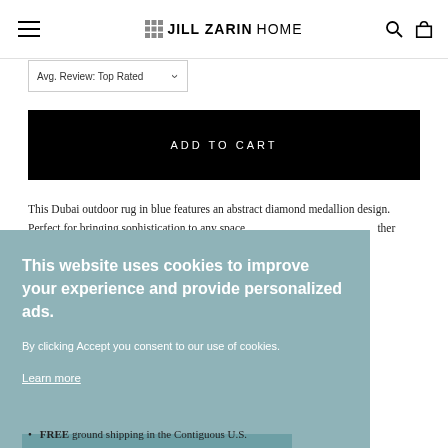JILL ZARIN HOME
ADD TO CART
This Dubai outdoor rug in blue features an abstract diamond medallion design. Perfect for bringing sophistication to any space ... ther
This website uses cookies to improve your experience and provide personalized ads.
By clicking Accept you consent to our use of cookies.
Learn more
Accept
FREE ground shipping in the Contiguous U.S.